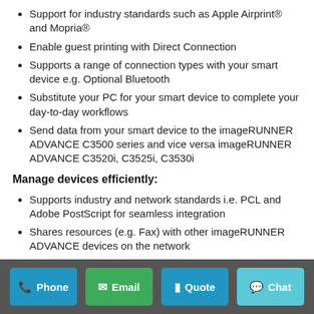Support for industry standards such as Apple Airprint® and Mopria®
Enable guest printing with Direct Connection
Supports a range of connection types with your smart device e.g. Optional Bluetooth
Substitute your PC for your smart device to complete your day-to-day workflows
Send data from your smart device to the imageRUNNER ADVANCE C3500 series and vice versa imageRUNNER ADVANCE C3520i, C3525i, C3530i
Manage devices efficiently:
Supports industry and network standards i.e. PCL and Adobe PostScript for seamless integration
Shares resources (e.g. Fax) with other imageRUNNER ADVANCE devices on the network
Collaborates with business applications and external systems in the cloud
Canon's MEAP platform provides process optimisation, by integrating with a range of third-party systems and...
Phone | Email | Quote | Chat